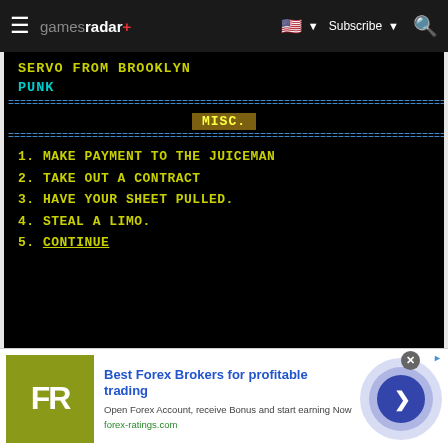gamesradar+ — Subscribe — Search
[Figure (screenshot): Retro video game screenshot showing a menu screen with black background and green/yellow monospace text. Shows 'SERVO FROM BROOKLYN / PUNK' at top, then 'MISC.' section header, followed by a numbered menu: 1. MAKE PAYMENT TO THE JUICEMAN, 2. TAKE OUT A CONTRACT, 3. HAVE YOUR SHEET PULLED., 4. STEAL A LIMO., 5. CONTINUE (underlined)]
[Figure (infographic): Advertisement banner for forex-ratings.com — Best Forex Brokers for profitable trading. Features olive/yellow-green FR logo box, ad text, and circular arrow call-to-action button.]